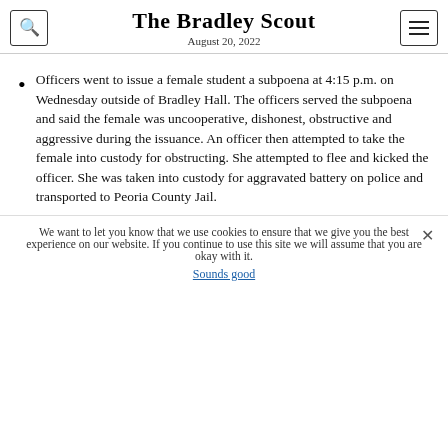The Bradley Scout
August 20, 2022
Officers went to issue a female student a subpoena at 4:15 p.m. on Wednesday outside of Bradley Hall. The officers served the subpoena and said the female was uncooperative, dishonest, obstructive and aggressive during the issuance. An officer then attempted to take the female into custody for obstructing. She attempted to flee and kicked the officer. She was taken into custody for aggravated battery on police and transported to Peoria County Jail.
We want to let you know that we use cookies to ensure that we give you the best experience on our website. If you continue to use this site we will assume that you are okay with it.
Sounds good